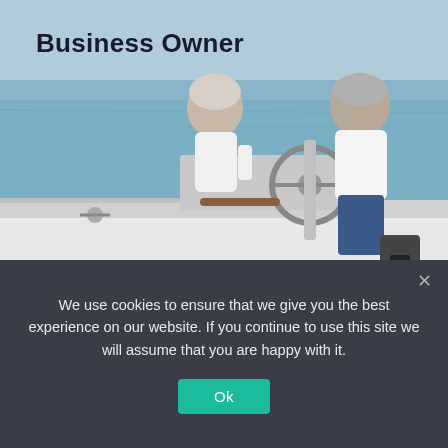[Figure (photo): Elderly couple on a sailboat deck, blue water in background, woman in white top laughing, man at helm in white shirt]
Business Owner
[Figure (photo): Outdoor scene with green trees, partially visible, with white text overlay 'Planning Your']
Planning Your
We use cookies to ensure that we give you the best experience on our website. If you continue to use this site we will assume that you are happy with it.